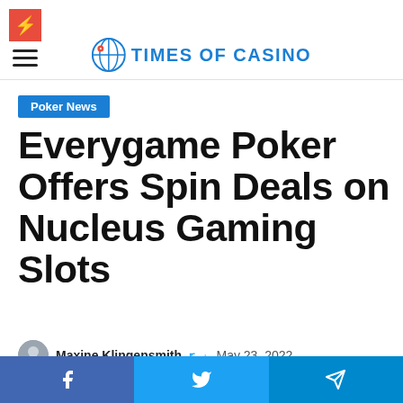Times Of Casino
Poker News
Everygame Poker Offers Spin Deals on Nucleus Gaming Slots
Maxine Klingensmith · May 23, 2022